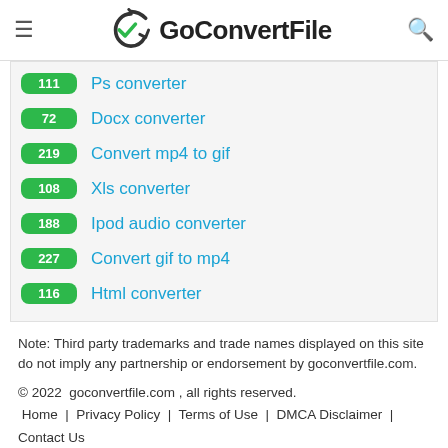GoConvertFile
111 Ps converter
72 Docx converter
219 Convert mp4 to gif
108 Xls converter
188 Ipod audio converter
227 Convert gif to mp4
116 Html converter
Note: Third party trademarks and trade names displayed on this site do not imply any partnership or endorsement by goconvertfile.com.
© 2022  goconvertfile.com , all rights reserved. Home | Privacy Policy | Terms of Use | DMCA Disclaimer | Contact Us